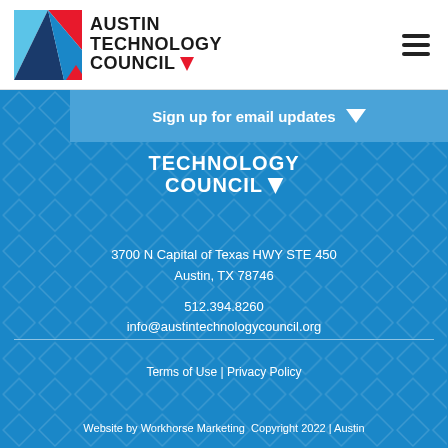[Figure (logo): Austin Technology Council logo with geometric mountain/triangle graphic in blue, red, and navy, with bold text AUSTIN TECHNOLOGY COUNCIL]
[Figure (screenshot): Hamburger menu icon (three horizontal bars) in top right corner]
Sign up for email updates
[Figure (logo): Austin Technology Council logo in white text on blue background, showing TECHNOLOGY COUNCIL with small red/white triangle chevron]
3700 N Capital of Texas HWY STE 450
Austin, TX 78746
512.394.8260
info@austintechnologycouncil.org
Terms of Use | Privacy Policy
Website by Workhorse Marketing  Copyright 2022 | Austin